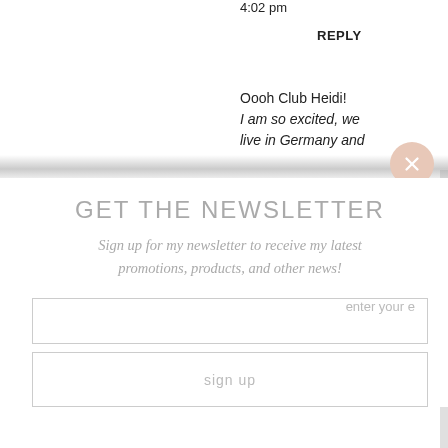4:02 pm
REPLY
Oooh Club Heidi!
I am so excited, we live in Germany and
GET THE NEWSLETTER
Sign up for my newsletter to receive my latest promotions, products, and other news!
enter your e
sign up